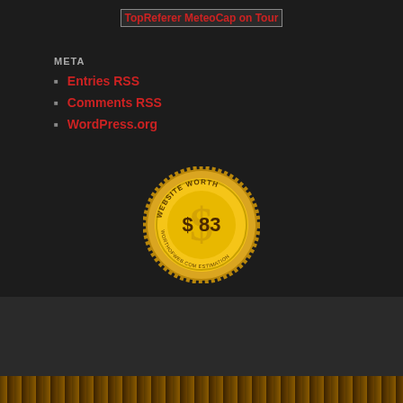[Figure (other): TopReferer MeteoCap on Tour badge/image placeholder with broken image icon]
META
Entries RSS
Comments RSS
WordPress.org
[Figure (other): Gold coin badge showing WEBSITE WORTH $83]
Powered by WordPress. | Hosted by One.com
© 2019-2022 Weird-Press.com